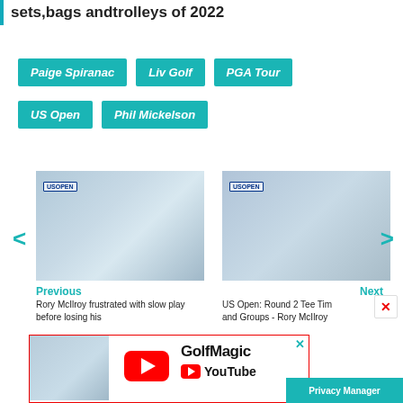sets,bags andtrolleys of 2022
Paige Spiranac
Liv Golf
PGA Tour
US Open
Phil Mickelson
[Figure (photo): Previous article thumbnail: Rory McIlroy at US Open press conference]
Previous
Rory McIlroy frustrated with slow play before losing his
[Figure (photo): Next article thumbnail: Rory McIlroy smiling at US Open press conference]
Next
US Open: Round 2 Tee Times and Groups - Rory McIlroy
[Figure (screenshot): GolfMagic YouTube channel advertisement with golfer image, YouTube play button, GolfMagic logo and YouTube branding]
Privacy Manager